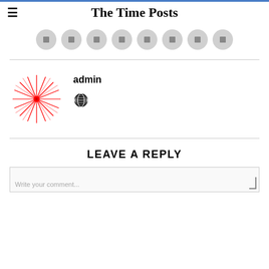The Time Posts
[Figure (other): Row of 8 circular grey social media icon buttons]
admin
[Figure (illustration): Red starburst/explosion illustration used as admin avatar]
[Figure (other): Globe/world icon in black]
LEAVE A REPLY
Write your comment...